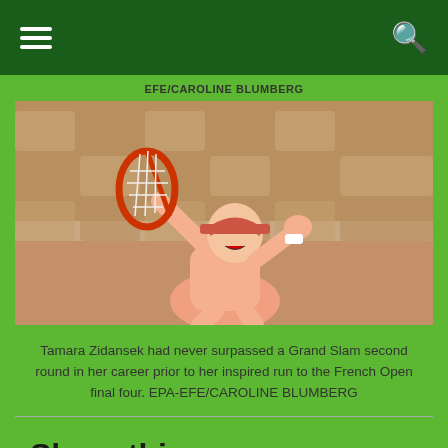Navigation bar with hamburger menu and search icon
EFE/CAROLINE BLUMBERG
[Figure (photo): Tamara Zidansek celebrating on a tennis court, holding a racket, wearing pink outfit and visor, with clay court seats in background]
Tamara Zidansek had never surpassed a Grand Slam second round in her career prior to her inspired run to the French Open final four. EPA-EFE/CAROLINE BLUMBERG
Share this: